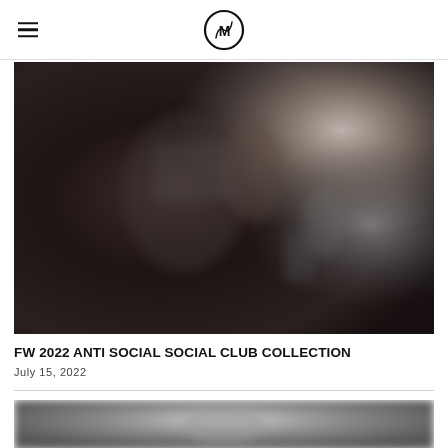CMV logo with hamburger menu
[Figure (photo): Blurred fashion photo showing dark clothing and figures, FW 2022 Anti Social Social Club collection]
FW 2022 ANTI SOCIAL SOCIAL CLUB COLLECTION
July 15, 2022
[Figure (photo): Partially visible blurred photo at the bottom of the page]